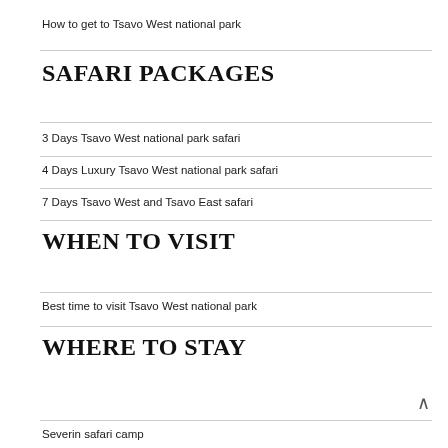How to get to Tsavo West national park
SAFARI PACKAGES
3 Days Tsavo West national park safari
4 Days Luxury Tsavo West national park safari
7 Days Tsavo West and Tsavo East safari
WHEN TO VISIT
Best time to visit Tsavo West national park
WHERE TO STAY
Severin safari camp